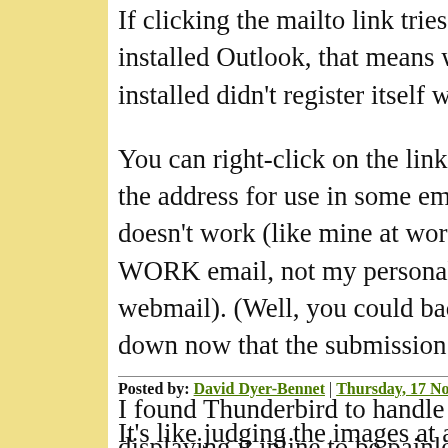If clicking the mailto link tries to bring up installed Outlook, that means whatever you installed didn't register itself with th...
You can right-click on the link and u... the address for use in some email en... doesn't work (like mine at work; cli... WORK email, not my personal email... webmail). (Well, you could back wh... down now that the submission perio...
I found Thunderbird to handle puttin... displaying it inline to be painless, an... file name (I sent a copy to myself, so... have to remember how to start comp... since I do that maybe once a year.
Posted by: David Dyer-Bennet | Thursday, 17 Novemb...
It's like judging the images at a Cam... of really good images, but none grea...